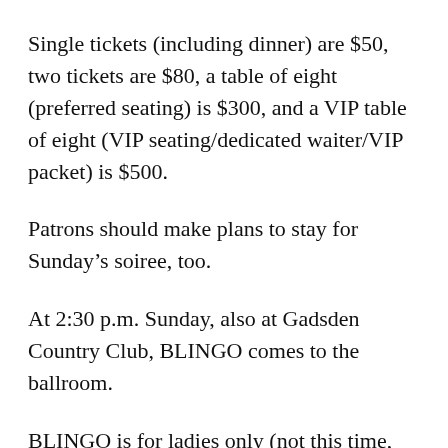Single tickets (including dinner) are $50, two tickets are $80, a table of eight (preferred seating) is $300, and a VIP table of eight (VIP seating/dedicated waiter/VIP packet) is $500.
Patrons should make plans to stay for Sunday’s soiree, too.
At 2:30 p.m. Sunday, also at Gadsden Country Club, BLINGO comes to the ballroom.
BLINGO is for ladies only (not this time, guys) and is an afternoon of playing bingo to win bling!
The event features plenty of bingo, heavy hors d’oeuvres,